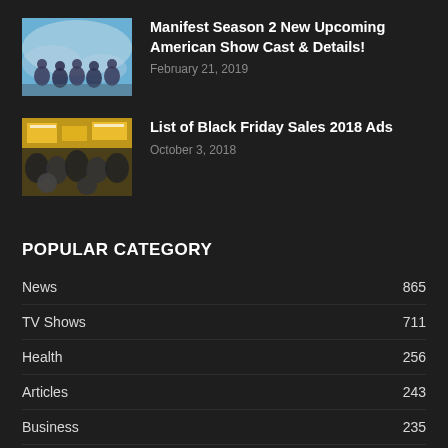[Figure (photo): Thumbnail image from Manifest TV show - group of people in blue/white tones]
Manifest Season 2 New Upcoming American Show Cast & Details!
February 21, 2019
[Figure (photo): Thumbnail image of crowded Black Friday shoppers]
List of Black Friday Sales 2018 Ads
October 3, 2018
POPULAR CATEGORY
News 865
TV Shows 711
Health 256
Articles 243
Business 235
Movie News 184